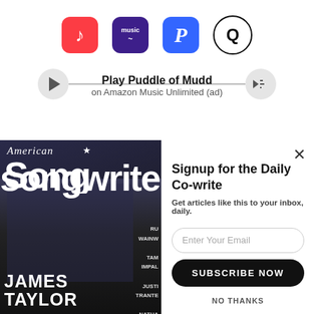[Figure (screenshot): Row of music streaming service icons: Apple Music (red), Amazon Music (purple), Pandora (blue P), Qobuz (Q in circle)]
[Figure (screenshot): Music player bar with play button, progress line, and volume button. Text: 'Play Puddle of Mudd' and 'on Amazon Music Unlimited (ad)']
Play Puddle of Mudd
on Amazon Music Unlimited (ad)
[Figure (photo): American Songwriter magazine cover featuring James Taylor]
Signup for the Daily Co-write
Get articles like this to your inbox, daily.
Enter Your Email
SUBSCRIBE NOW
NO THANKS